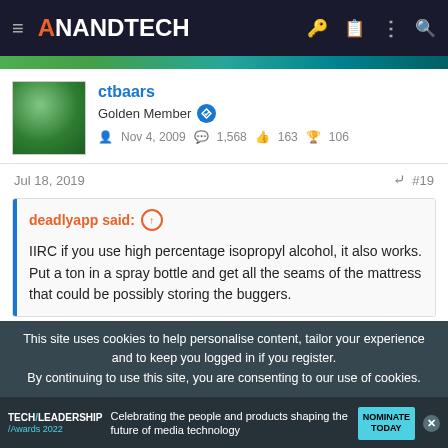AnandTech
[Figure (screenshot): Green gradient advertisement banner]
ctbaars
Golden Member
Nov 4, 2009  1,568  163  106
Jul 18, 2019  #19
deadlyapp said: 
IIRC if you use high percentage isopropyl alcohol, it also works. Put a ton in a spray bottle and get all the seams of the mattress that could be possibly storing the buggers.
This site uses cookies to help personalise content, tailor your experience and to keep you logged in if you register.
By continuing to use this site, you are consenting to our use of cookies.
[Figure (screenshot): Tech Leadership Awards 2022 advertisement banner]